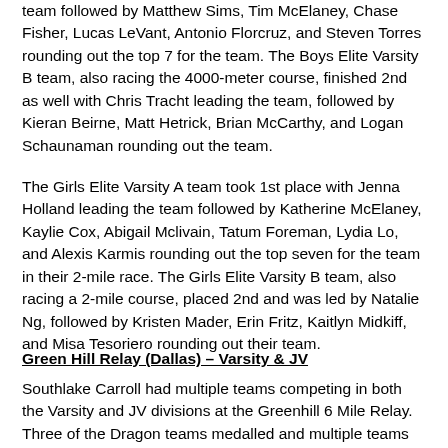team followed by Matthew Sims, Tim McElaney, Chase Fisher, Lucas LeVant, Antonio Florcruz, and Steven Torres rounding out the top 7 for the team. The Boys Elite Varsity B team, also racing the 4000-meter course, finished 2nd as well with Chris Tracht leading the team, followed by Kieran Beirne, Matt Hetrick, Brian McCarthy, and Logan Schaunaman rounding out the team.
The Girls Elite Varsity A team took 1st place with Jenna Holland leading the team followed by Katherine McElaney, Kaylie Cox, Abigail Mclivain, Tatum Foreman, Lydia Lo, and Alexis Karmis rounding out the top seven for the team in their 2-mile race. The Girls Elite Varsity B team, also racing a 2-mile course, placed 2nd and was led by Natalie Ng, followed by Kristen Mader, Erin Fritz, Kaitlyn Midkiff, and Misa Tesoriero rounding out their team.
Green Hill Relay (Dallas) – Varsity & JV
Southlake Carroll had multiple teams competing in both the Varsity and JV divisions at the Greenhill 6 Mile Relay. Three of the Dragon teams medalled and multiple teams finished in the top 10.
Head Cross Country Coach Justin Leonard commented, "We are